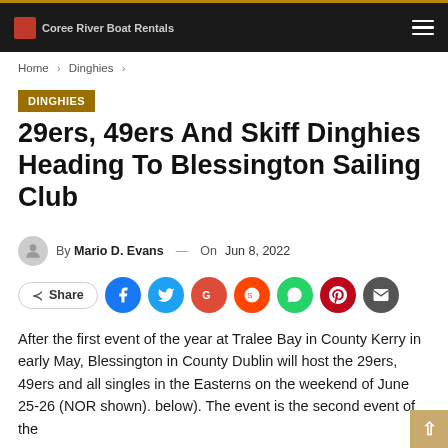Coree River Boat Rentals
Home > Dinghies >
DINGHIES
29ers, 49ers And Skiff Dinghies Heading To Blessington Sailing Club
By Mario D. Evans — On Jun 8, 2022
Share [social buttons: Facebook, Twitter, Google, Reddit, WhatsApp, Pinterest, Email]
After the first event of the year at Tralee Bay in County Kerry in early May, Blessington in County Dublin will host the 29ers, 49ers and all singles in the Easterns on the weekend of June 25-26 (NOR shown). below). The event is the second event of the